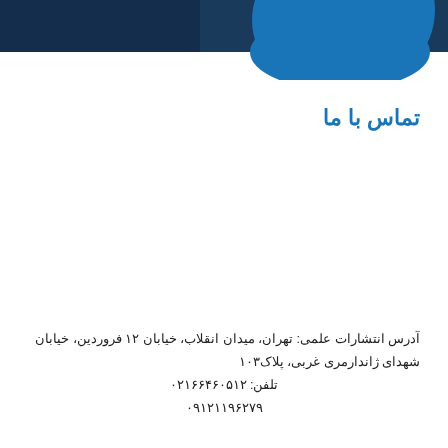[Figure (illustration): Decorative header with dark blue band across top and a blue arc/circle graphic element on the right side]
تماس با ما
آدرس انتشارات علمی: تهران، میدان انقلاب، خیابان ۱۲ فروردین، خیابان شهدای ژاندارمری غربی، پلاک۱۰۳
تلفن: ۰۲۱۶۶۴۶۰۵۱۲
۰۹۱۲۱۱۹۶۲۷۹